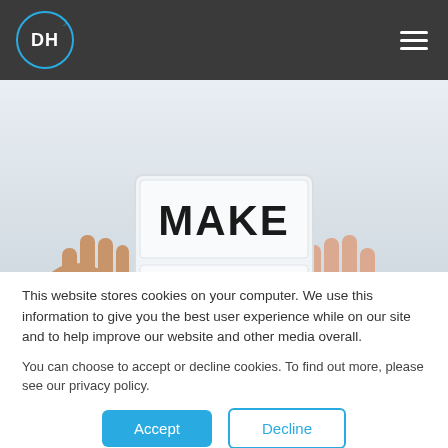DH logo and navigation menu
[Figure (photo): Person holding a light-box sign displaying 'MAKE HAPPY WORK' in bold black letters on a white background. Hands visible on either side holding the sign. Photo is cropped showing only MAKE and HAPPY rows fully, with WORK partially visible at the bottom.]
This website stores cookies on your computer. We use this information to give you the best user experience while on our site and to help improve our website and other media overall.
You can choose to accept or decline cookies. To find out more, please see our privacy policy.
Accept  Decline